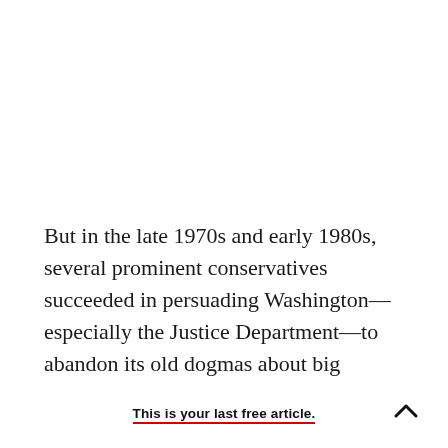But in the late 1970s and early 1980s, several prominent conservatives succeeded in persuading Washington—especially the Justice Department—to abandon its old dogmas about big business. In a book that galvanized a movement, The Antitrust
This is your last free article.